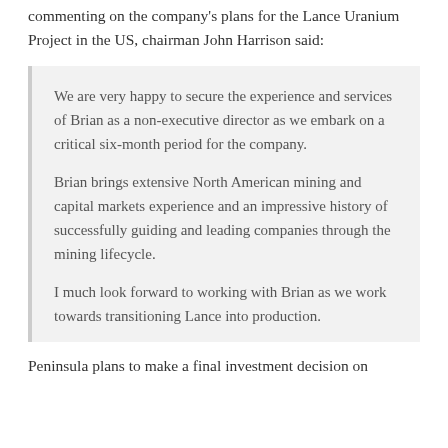commenting on the company's plans for the Lance Uranium Project in the US, chairman John Harrison said:
We are very happy to secure the experience and services of Brian as a non-executive director as we embark on a critical six-month period for the company.
Brian brings extensive North American mining and capital markets experience and an impressive history of successfully guiding and leading companies through the mining lifecycle.
I much look forward to working with Brian as we work towards transitioning Lance into production.
Peninsula plans to make a final investment decision on